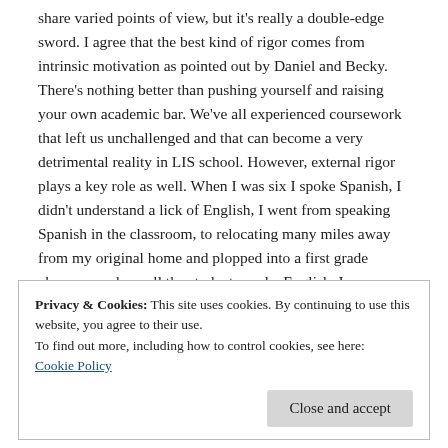share varied points of view, but it's really a double-edge sword. I agree that the best kind of rigor comes from intrinsic motivation as pointed out by Daniel and Becky. There's nothing better than pushing yourself and raising your own academic bar. We've all experienced coursework that left us unchallenged and that can become a very detrimental reality in LIS school. However, external rigor plays a key role as well. When I was six I spoke Spanish, I didn't understand a lick of English, I went from speaking Spanish in the classroom, to relocating many miles away from my original home and plopped into a first grade classroom where all the students spoke English. I was challenged to learn a new language. The teacher did not change her curriculum to suit my needs. In the second grade, I went to an ESOL program during the first half of the year, but my
Privacy & Cookies: This site uses cookies. By continuing to use this website, you agree to their use.
To find out more, including how to control cookies, see here:
Cookie Policy
Close and accept
and I did benefit from that in terms of feeling of